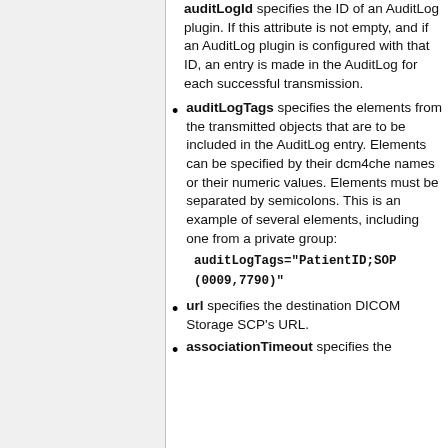auditLogId specifies the ID of an AuditLog plugin. If this attribute is not empty, and if an AuditLog plugin is configured with that ID, an entry is made in the AuditLog for each successful transmission.
auditLogTags specifies the elements from the transmitted objects that are to be included in the AuditLog entry. Elements can be specified by their dcm4che names or their numeric values. Elements must be separated by semicolons. This is an example of several elements, including one from a private group:
auditLogTags="PatientID;SOP(0009,7790)"
url specifies the destination DICOM Storage SCP's URL.
associationTimeout specifies the